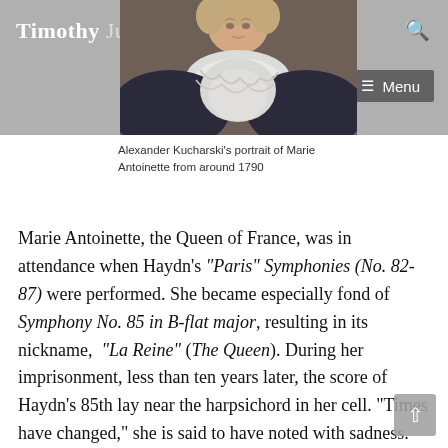Timothy Judd
[Figure (photo): Portrait painting of Marie Antoinette by Alexander Kucharski, showing a woman in dark clothing with white lace collar and pearl necklace, circa 1790]
Alexander Kucharski’s portrait of Marie Antoinette from around 1790
Marie Antoinette, the Queen of France, was in attendance when Haydn’s “Paris” Symphonies (No. 82-87) were performed. She became especially fond of Symphony No. 85 in B-flat major, resulting in its nickname, “La Reine” (The Queen). During her imprisonment, less than ten years later, the score of Haydn’s 85th lay near the harpsichord in her cell. “Times have changed,” she is said to have noted with sadness.